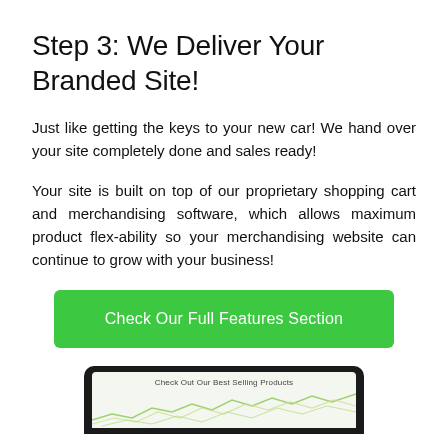Step 3: We Deliver Your Branded Site!
Just like getting the keys to your new car! We hand over your site completely done and sales ready!
Your site is built on top of our proprietary shopping cart and merchandising software, which allows maximum product flex-ability so your merchandising website can continue to grow with your business!
Check Our Full Features Section
[Figure (screenshot): Laptop screen showing a website with the text 'Check Out Our Best Selling Products' and a line chart below it]